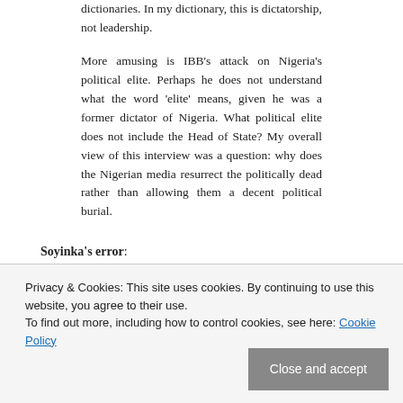dictionaries. In my dictionary, this is dictatorship, not leadership.
More amusing is IBB’s attack on Nigeria’s political elite. Perhaps he does not understand what the word ‘elite’ means, given he was a former dictator of Nigeria. What political elite does not include the Head of State? My overall view of this interview was a question: why does the Nigerian media resurrect the politically dead rather than allowing them a decent political burial.
Soyinka’s error:
I am reluctant to critique Soyinka as I have always thought of him fondly as an elder brother. Apart from that, I have a
Privacy & Cookies: This site uses cookies. By continuing to use this website, you agree to their use.
To find out more, including how to control cookies, see here: Cookie Policy
deliberately. Rather they have no idea what they are doing.